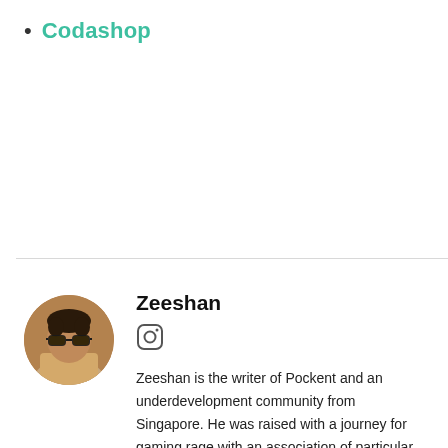Codashop
[Figure (photo): Circular avatar photo of Zeeshan, a young man wearing sunglasses and a patterned shirt]
Zeeshan
[Figure (other): Instagram icon (circular camera outline)]
Zeeshan is the writer of Pockent and an underdevelopment community from Singapore. He was raised with a journey for gaming rage with an association of particular people. This is the spot he comprehended that PC games can develop your innovative psyche to boundless universes.